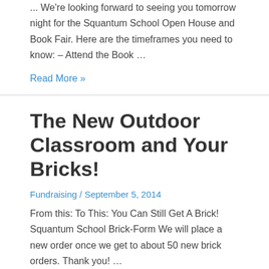... We're looking forward to seeing you tomorrow night for the Squantum School Open House and Book Fair. Here are the timeframes you need to know: – Attend the Book …
Read More »
The New Outdoor Classroom and Your Bricks!
Fundraising / September 5, 2014
From this: To This: You Can Still Get A Brick! Squantum School Brick-Form We will place a new order once we get to about 50 new brick orders. Thank you! …
Read More »
Squantum Outdoor Club f…